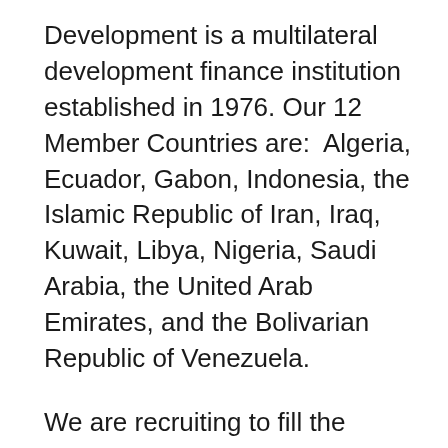Development is a multilateral development finance institution established in 1976. Our 12 Member Countries are:  Algeria, Ecuador, Gabon, Indonesia, the Islamic Republic of Iran, Iraq, Kuwait, Libya, Nigeria, Saudi Arabia, the United Arab Emirates, and the Bolivarian Republic of Venezuela.
We are recruiting to fill the position below: